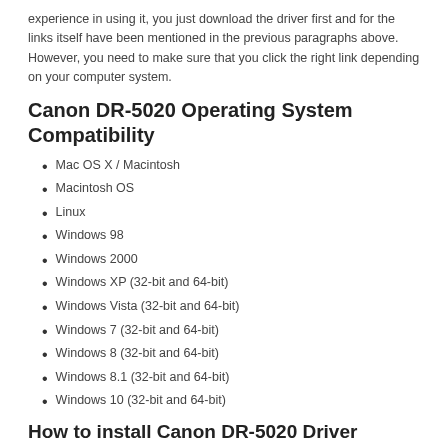experience in using it, you just download the driver first and for the links itself have been mentioned in the previous paragraphs above. However, you need to make sure that you click the right link depending on your computer system.
Canon DR-5020 Operating System Compatibility
Mac OS X / Macintosh
Macintosh OS
Linux
Windows 98
Windows 2000
Windows XP (32-bit and 64-bit)
Windows Vista (32-bit and 64-bit)
Windows 7 (32-bit and 64-bit)
Windows 8 (32-bit and 64-bit)
Windows 8.1 (32-bit and 64-bit)
Windows 10 (32-bit and 64-bit)
How to install Canon DR-5020 Driver
Before you start to install your Canon DR-5020 Driver, follow the